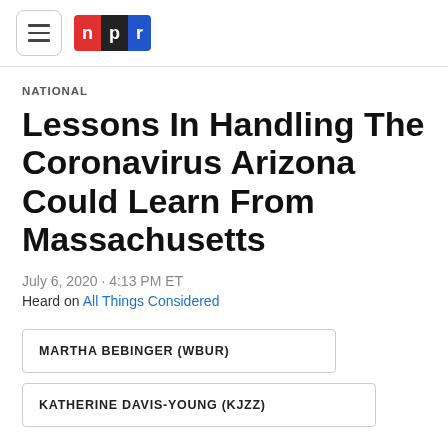NPR
NATIONAL
Lessons In Handling The Coronavirus Arizona Could Learn From Massachusetts
July 6, 2020 · 4:13 PM ET
Heard on All Things Considered
MARTHA BEBINGER (WBUR)
KATHERINE DAVIS-YOUNG (KJZZ)